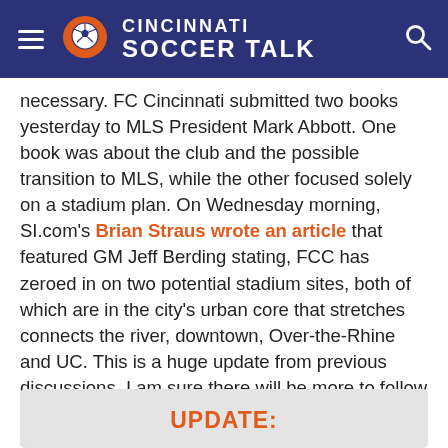Cincinnati Soccer Talk
necessary. FC Cincinnati submitted two books yesterday to MLS President Mark Abbott. One book was about the club and the possible transition to MLS, while the other focused solely on a stadium plan. On Wednesday morning, SI.com's Brian Straus wrote an article that featured GM Jeff Berding stating, FCC has zeroed in on two potential stadium sites, both of which are in the city’s urban core that stretches connects the river, downtown, Over-the-Rhine and UC. This is a huge update from previous discussions. I am sure there will be more to follow on the FC Cincinnati bid.
TUNE INTO TONIGHT’S SHOW AND CALL 513-399-KICK (5425) TO DISCUSS THE EXPANSION APPLICATION.
UPDATE: